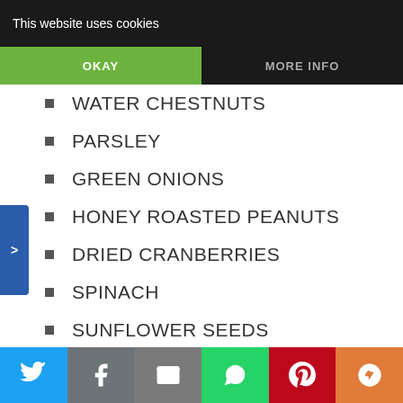This website uses cookies | OKAY | MORE INFO
WATER CHESTNUTS
PARSLEY
GREEN ONIONS
HONEY ROASTED PEANUTS
DRIED CRANBERRIES
SPINACH
SUNFLOWER SEEDS
OIL
SALT
SUGAR
Twitter | Facebook | Email | WhatsApp | Pinterest | More